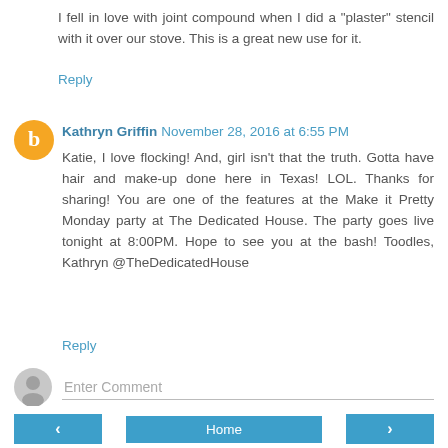I fell in love with joint compound when I did a "plaster" stencil with it over our stove. This is a great new use for it.
Reply
Kathryn Griffin November 28, 2016 at 6:55 PM
Katie, I love flocking! And, girl isn't that the truth. Gotta have hair and make-up done here in Texas! LOL. Thanks for sharing! You are one of the features at the Make it Pretty Monday party at The Dedicated House. The party goes live tonight at 8:00PM. Hope to see you at the bash! Toodles, Kathryn @TheDedicatedHouse
Reply
Enter Comment
< Home >